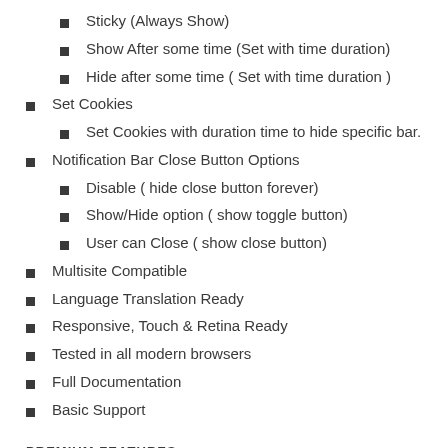Sticky (Always Show)
Show After some time (Set with time duration)
Hide after some time ( Set with time duration )
Set Cookies
Set Cookies with duration time to hide specific bar.
Notification Bar Close Button Options
Disable ( hide close button forever)
Show/Hide option ( show toggle button)
User can Close ( show close button)
Multisite Compatible
Language Translation Ready
Responsive, Touch & Retina Ready
Tested in all modern browsers
Full Documentation
Basic Support
PREMIUM FEATURES: